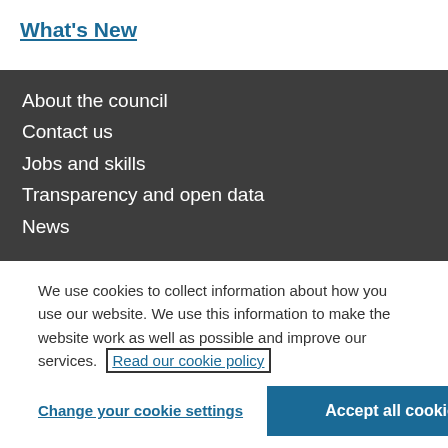What's New
About the council
Contact us
Jobs and skills
Transparency and open data
News
We use cookies to collect information about how you use our website. We use this information to make the website work as well as possible and improve our services. Read our cookie policy
Change your cookie settings
Accept all cookies